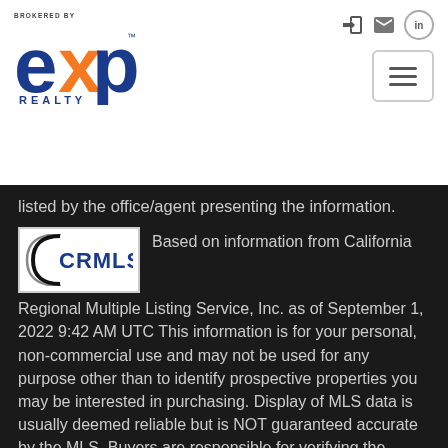[Figure (logo): eXp Realty logo - brokered by eXp Realty in blue with orange X]
listed by the office/agent presenting the information.
[Figure (logo): CRMLS logo - California Regional Multiple Listing Service]
Based on information from California Regional Multiple Listing Service, Inc. as of September 1, 2022 9:42 AM UTC This information is for your personal, non-commercial use and may not be used for any purpose other than to identify prospective properties you may be interested in purchasing. Display of MLS data is usually deemed reliable but is NOT guaranteed accurate by the MLS. Buyers are responsible for verifying the accuracy of all information and should investigate the data themselves or retain   Show More...